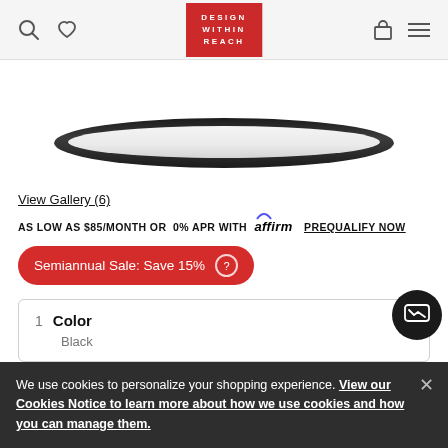[Figure (screenshot): Website header with search icon, heart icon, Design Within Reach logo (red box), shopping bag icon, and hamburger menu icon]
[Figure (photo): Partial product image showing a ceiling light fixture with black chrome rim and white diffuser panel, viewed from below/side]
View Gallery (6)
AS LOW AS $85/MONTH OR 0% APR WITH affirm PREQUALIFY NOW
Semiannual Sale: Save 15%
1 Color
Black
We use cookies to personalize your shopping experience. View our Cookies Notice to learn more about how we use cookies and how you can manage them.